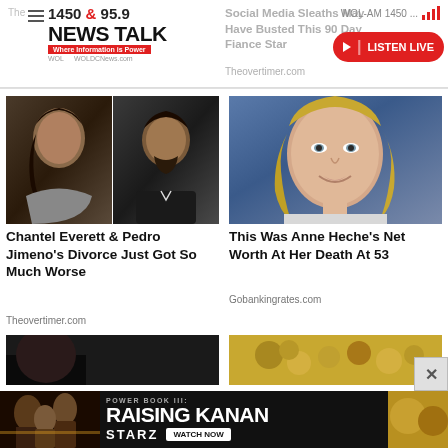1450 & 95.9 NEWS TALK - Where Information is Power | WOL-AM 1450 ... LISTEN LIVE
Social Media Sleaths May Have Busted This 90 Day Fiance Star
Theovertimer.com
[Figure (photo): Two people, a woman and a man, smiling - Chantel Everett and Pedro Jimeno]
Chantel Everett & Pedro Jimeno's Divorce Just Got So Much Worse
Theovertimer.com
[Figure (photo): Blonde woman smiling - Anne Heche]
This Was Anne Heche's Net Worth At Her Death At 53
Gobankingrates.com
[Figure (photo): Partial bottom-left image, dark]
[Figure (photo): Partial bottom-right image, golden/coins]
[Figure (photo): Advertisement banner: POWER BOOK III: RAISING KANAN - STARZ - WATCH NOW]
POWER BOOK III: RAISING KANAN - STARZ WATCH NOW